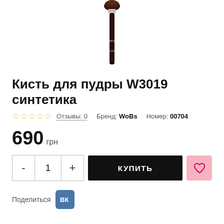[Figure (photo): A dark brown makeup powder brush (W3019) with a slender handle, shown vertically with the handle pointing down and brush head at top. The handle has the brand name and model number printed on it.]
Кисть для пудры W3019 синтетика
Отзывы: 0   Бренд: WoBs   Номер: 00704
690 грн
- 1 +   КУПИТЬ
Поделиться